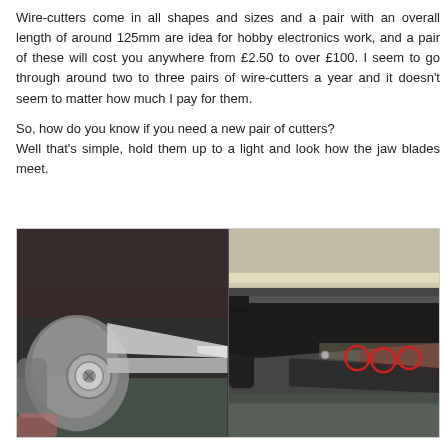Wire-cutters come in all shapes and sizes and a pair with an overall length of around 125mm are idea for hobby electronics work, and a pair of these will cost you anywhere from £2.50 to over £100. I seem to go through around two to three pairs of wire-cutters a year and it doesn't seem to matter how much I pay for them.

So, how do you know if you need a new pair of cutters?
Well that's simple, hold them up to a light and look how the jaw blades meet.
[Figure (photo): Two side-by-side photographs of wire-cutters. Left image shows the closed jaw/blade of a pair of wire-cutters from the side in grayscale. Right image shows the jaw blades held up to a light, with three red circles highlighting gaps between the blades where they do not meet properly.]